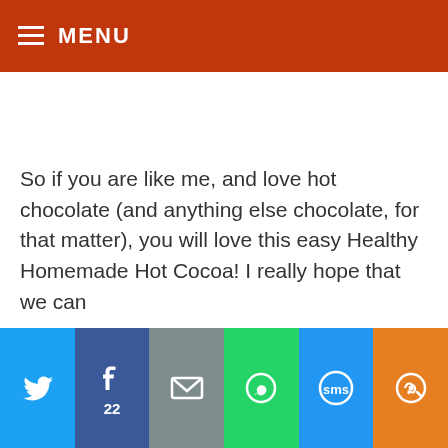MENU
So if you are like me, and love hot chocolate (and anything else chocolate, for that matter), you will love this easy Healthy Homemade Hot Cocoa!  I really hope that we can
[Figure (screenshot): Social sharing bar with Twitter, Facebook (22 shares), Email, WhatsApp, SMS, and More buttons]